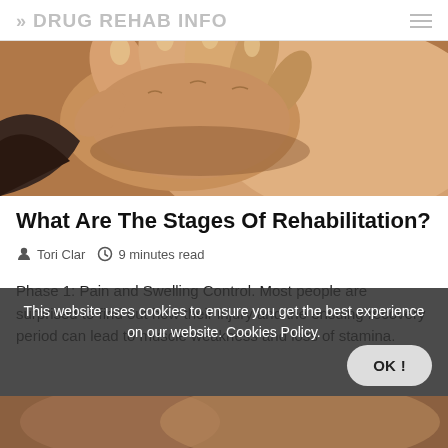>> DRUG REHAB INFO
[Figure (photo): Close-up photo of a hand touching/rubbing a person's back or neck area, suggesting pain or injury.]
What Are The Stages Of Rehabilitation?
Tori Clar   9 minutes read
Phase 1: Pain and Swelling Control. Most people are surprised to find out how their injury and the ensuing recovery period can lead to muscle weakness and loss of stamina.
This website uses cookies to ensure you get the best experience on our website. Cookies Policy.
[Figure (photo): Partial view of another photo at the bottom of the page, showing skin tones suggesting a body part.]